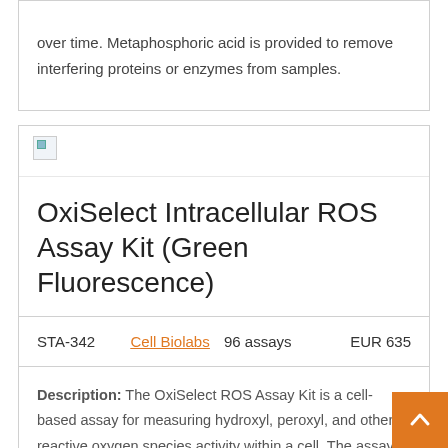over time. Metaphosphoric acid is provided to remove interfering proteins or enzymes from samples.
[Figure (photo): Broken image placeholder icon]
OxiSelect Intracellular ROS Assay Kit (Green Fluorescence)
STA-342   Cell Biolabs   96 assays   EUR 635
Description: The OxiSelect ROS Assay Kit is a cell-based assay for measuring hydroxyl, peroxyl, and other reactive oxygen species activity within a cell. The assay employs the cell-permeable fluorogenic probe DCFH-DA, which diffuses into cells and is deacetylcated by cellular esterases into the non-fluorescent DCFH